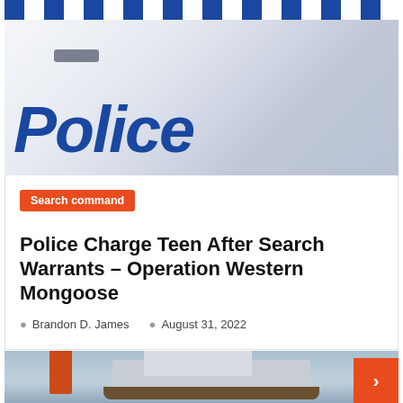[Figure (photo): Close-up photo of a police vehicle door with blue and white checkered band at top and large blue 'Police' text lettering on the white door]
Search command
Police Charge Teen After Search Warrants – Operation Western Mongoose
Brandon D. James   August 31, 2022
[Figure (photo): Photo showing a boat on water, partially visible at bottom of page]